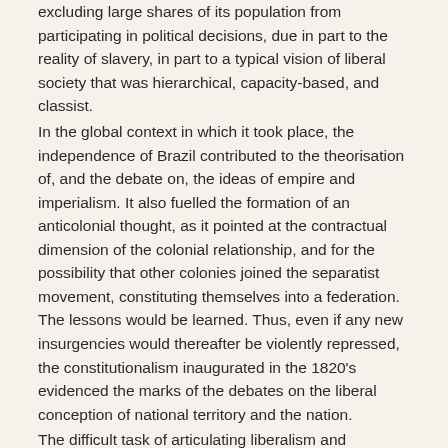excluding large shares of its population from participating in political decisions, due in part to the reality of slavery, in part to a typical vision of liberal society that was hierarchical, capacity-based, and classist. In the global context in which it took place, the independence of Brazil contributed to the theorisation of, and the debate on, the ideas of empire and imperialism. It also fuelled the formation of an anticolonial thought, as it pointed at the contractual dimension of the colonial relationship, and for the possibility that other colonies joined the separatist movement, constituting themselves into a federation. The lessons would be learned. Thus, even if any new insurgencies would thereafter be violently repressed, the constitutionalism inaugurated in the 1820's evidenced the marks of the debates on the liberal conception of national territory and the nation. The difficult task of articulating liberalism and colonialism, expressed concretely in the principles of administration and in the guarantee of individual and collective rights, would be renewed, interpreted, and questioned. Among the conditions for the establishment of a liberal regime,